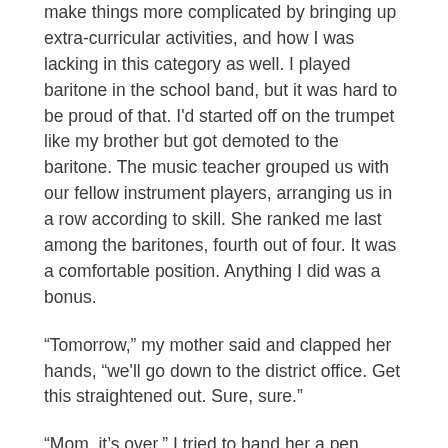make things more complicated by bringing up extra-curricular activities, and how I was lacking in this category as well. I played baritone in the school band, but it was hard to be proud of that. I'd started off on the trumpet like my brother but got demoted to the baritone. The music teacher grouped us with our fellow instrument players, arranging us in a row according to skill. She ranked me last among the baritones, fourth out of four. It was a comfortable position. Anything I did was a bonus.
“Tomorrow,” my mother said and clapped her hands, “we'll go down to the district office. Get this straightened out. Sure, sure.”
“Mom, it’s over.” I tried to hand her a pen. “Here. Sign.”
She grabbed the cordless phone and stabbed it towards my face, nearly poking my cheek with